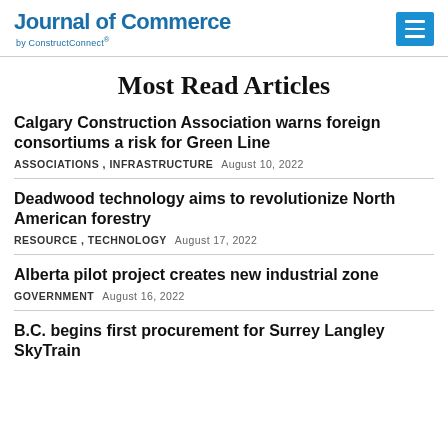Journal of Commerce by ConstructConnect®
Most Read Articles
Calgary Construction Association warns foreign consortiums a risk for Green Line — ASSOCIATIONS , INFRASTRUCTURE — August 10, 2022
Deadwood technology aims to revolutionize North American forestry — RESOURCE , TECHNOLOGY — August 17, 2022
Alberta pilot project creates new industrial zone — GOVERNMENT — August 16, 2022
B.C. begins first procurement for Surrey Langley SkyTrain